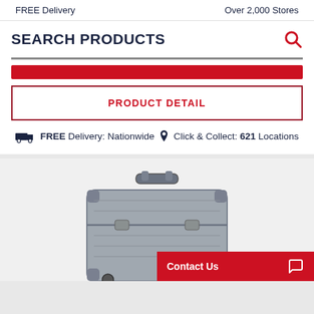FREE Delivery    Over 2,000 Stores
SEARCH PRODUCTS
PRODUCT DETAIL
FREE Delivery: Nationwide  Click & Collect: 621 Locations
[Figure (photo): Grey hard-shell luggage/case product photo]
Contact Us